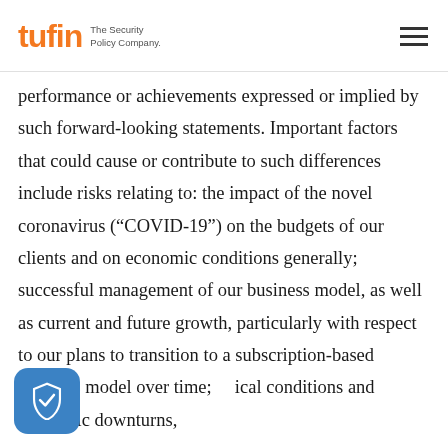tufin The Security Policy Company.
performance or achievements expressed or implied by such forward-looking statements. Important factors that could cause or contribute to such differences include risks relating to: the impact of the novel coronavirus (“COVID-19”) on the budgets of our clients and on economic conditions generally; successful management of our business model, as well as current and future growth, particularly with respect to our plans to transition to a subscription-based business model over time; ical conditions and economic downturns,